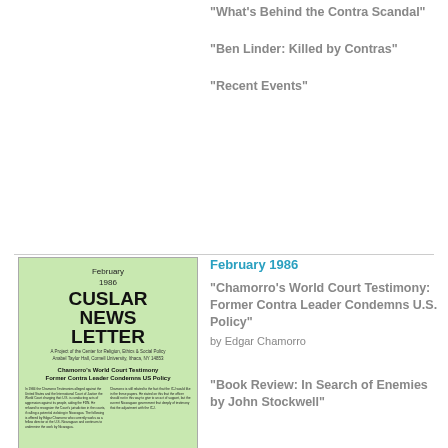"What's Behind the Contra Scandal"
"Ben Linder: Killed by Contras"
"Recent Events"
[Figure (photo): Cover of CUSLAR Newsletter, February 1986, featuring article on Chamorro's World Court Testimony about Former Contra Leader Condemning US Policy. Light green background with black bold text.]
February 1986
"Chamorro's World Court Testimony: Former Contra Leader Condemns U.S. Policy" by Edgar Chamorro
"Book Review: In Search of Enemies by John Stockwell"